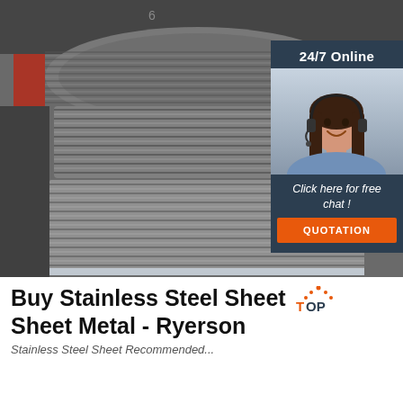[Figure (photo): Stacked stainless steel wire coils/rolls in a warehouse, with grey metallic wire wound into large circular spools, red fabric visible at left.]
[Figure (infographic): 24/7 Online chat widget overlay in dark navy blue showing a smiling female customer service representative with headset, text 'Click here for free chat!' and orange QUOTATION button.]
Buy Stainless Steel Sheet Sheet Metal - Ryerson
Stainless Steel Sheet Recommended...